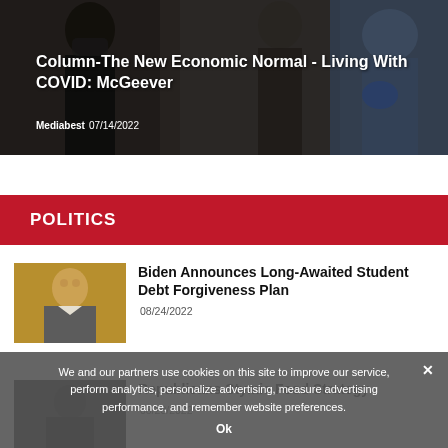[Figure (photo): Hero image showing people wearing masks, one administering a temperature check, overlaid with article headline text]
Column-The New Economic Normal - Living With COVID: McGeever
Mediabest 07/14/2022
POLITICS
[Figure (photo): Photo of President Biden at a podium, smiling, in a formal setting]
Biden Announces Long-Awaited Student Debt Forgiveness Plan
08/24/2022
[Figure (photo): Partially visible photo below the cookie overlay]
Republicans Stymie Food Strategy
08/23/2022
We and our partners use cookies on this site to improve our service, perform analytics, personalize advertising, measure advertising performance, and remember website preferences.